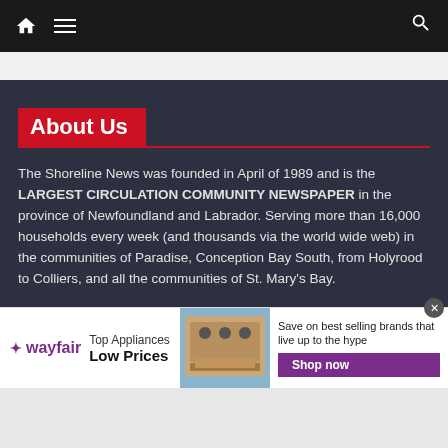Navigation bar with home icon, menu icon, and search icon
About Us
The Shoreline News was founded in April of 1989 and is the LARGEST CIRCULATION COMMUNITY NEWSPAPER in the province of Newfoundland and Labrador. Serving more than 16,000 households every week (and thousands via the world wide web) in the communities of Paradise, Conception Bay South, from Holyrood to Colliers, and all the communities of St. Mary's Bay.
LETTERS TO THE EDITOR:
[Figure (screenshot): Wayfair advertisement banner: Top Appliances Low Prices, image of a stove/range, Save on best selling brands that live up to the hype, Shop now button]